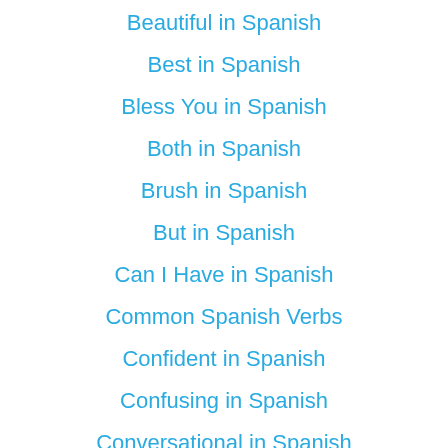Beautiful in Spanish
Best in Spanish
Bless You in Spanish
Both in Spanish
Brush in Spanish
But in Spanish
Can I Have in Spanish
Common Spanish Verbs
Confident in Spanish
Confusing in Spanish
Conversational in Spanish
Counting in Spanish
Course in Spanish
Cousins in Spanish